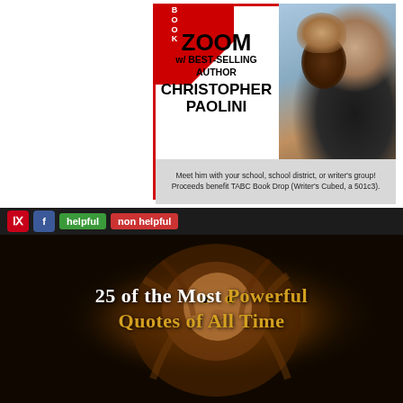ZOOM w/ BEST-SELLING AUTHOR CHRISTOPHER PAOLINI
Meet him with your school, school district, or writer's group! Proceeds benefit TABC Book Drop (Writer's Cubed, a 501c3).
[Figure (photo): Social media buttons: Pinterest (red), Facebook (blue), helpful (green), non helpful (red)]
[Figure (photo): Dark image of a lion face with text overlay reading '25 of the Most Powerful Quotes of All Time']
25 of the Most Powerful Quotes of All Time